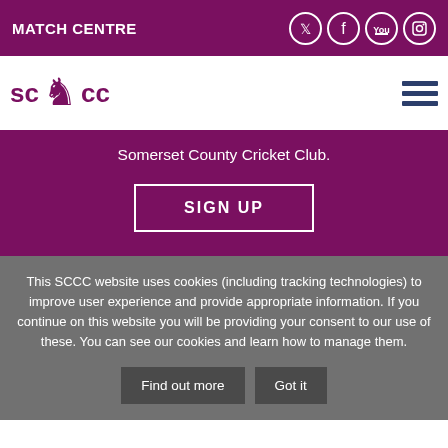MATCH CENTRE
[Figure (logo): Somerset County Cricket Club (SCCC) logo with lion crest]
Somerset County Cricket Club.
SIGN UP
This SCCC website uses cookies (including tracking technologies) to improve user experience and provide appropriate information. If you continue on this website you will be providing your consent to our use of these. You can see our cookies and learn how to manage them.
Find out more
Got it